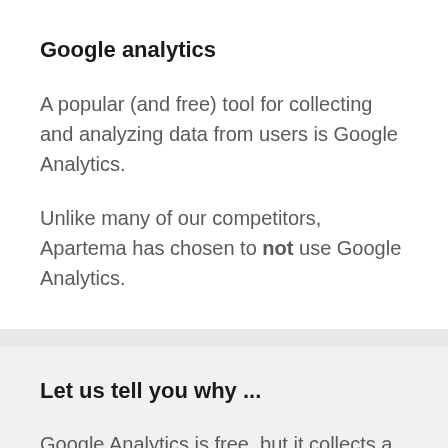Google analytics
A popular (and free) tool for collecting and analyzing data from users is Google Analytics.
Unlike many of our competitors, Apartema has chosen to not use Google Analytics.
Let us tell you why ...
Google Analytics is free, but it collects a lot of information about users, which Google then